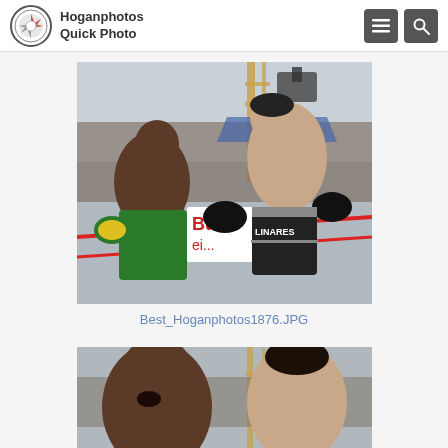Hoganphotos Quick Photo
[Figure (photo): Boxing match photo showing two fighters in a ring with Budweiser signage, one in green shorts, one in black trunks labeled 'Linares']
Best_Hoganphotos1876.JPG
[Figure (photo): Close-up boxing photo showing two fighters facing each other, one bald fighter and one with dark hair]